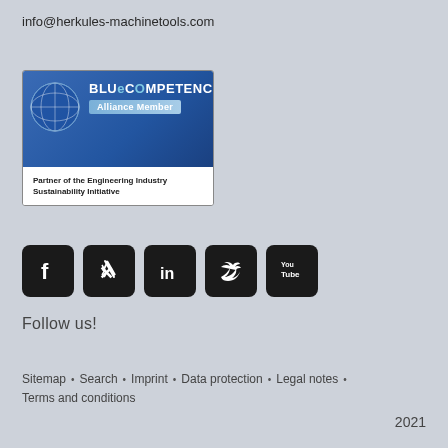info@herkules-machinetools.com
[Figure (logo): BlueCompetence Alliance Member badge - blue badge with globe icon, 'BLUECOMPETENCE' title and 'Alliance Member' subtitle, text 'Partner of the Engineering Industry Sustainability Initiative']
[Figure (infographic): Five social media icons in dark rounded square backgrounds: Facebook, Xing, LinkedIn, Twitter, YouTube]
Follow us!
Sitemap • Search • Imprint • Data protection • Legal notes • Terms and conditions
2021